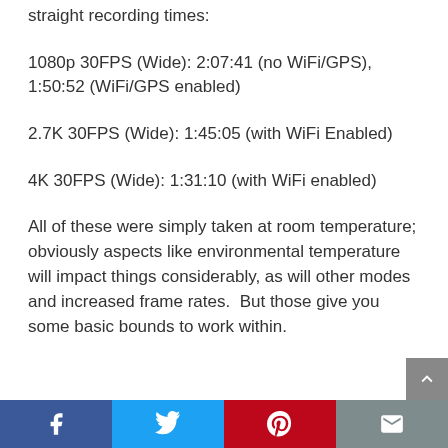Here's some quick tests that I've done with just straight recording times:
1080p 30FPS (Wide): 2:07:41 (no WiFi/GPS), 1:50:52 (WiFi/GPS enabled)
2.7K 30FPS (Wide): 1:45:05 (with WiFi Enabled)
4K 30FPS (Wide): 1:31:10 (with WiFi enabled)
All of these were simply taken at room temperature; obviously aspects like environmental temperature will impact things considerably, as will other modes and increased frame rates.  But those give you some basic bounds to work within.
Social share bar: Facebook, Twitter, Pinterest, Email